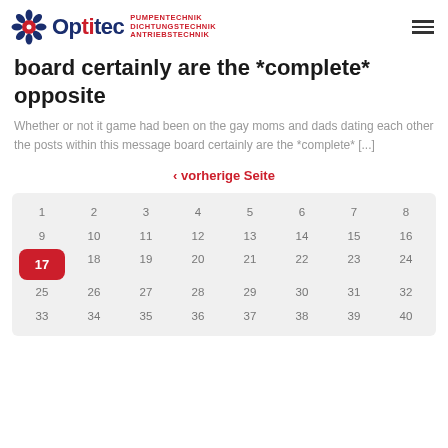Optitec PUMPENTECHNIK DICHTUNGSTECHNIK ANTRIEBSTECHNIK
board certainly are the *complete* opposite
Whether or not it game had been on the gay moms and dads dating each other the posts within this message board certainly are the *complete* [...]
< vorherige Seite
[Figure (other): Calendar grid showing numbers 1-40 arranged in rows of 8, with number 17 highlighted in a red rounded square]